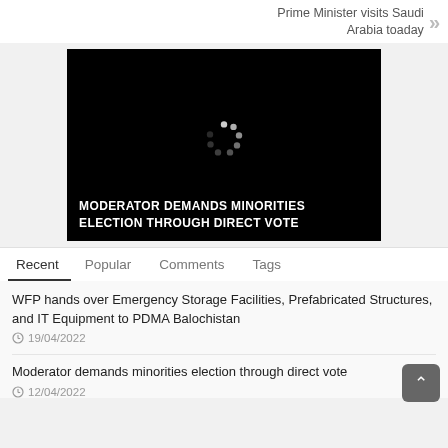Prime Minister visits Saudi Arabia toaday
[Figure (screenshot): Black video player thumbnail with loading spinner overlay and white bold text caption reading MODERATOR DEMANDS MINORITIES ELECTION THROUGH DIRECT VOTE]
Recent  Popular  Comments  Tags
WFP hands over Emergency Storage Facilities, Prefabricated Structures, and IT Equipment to PDMA Balochistan
19/04/2022
Moderator demands minorities election through direct vote
12/04/2022